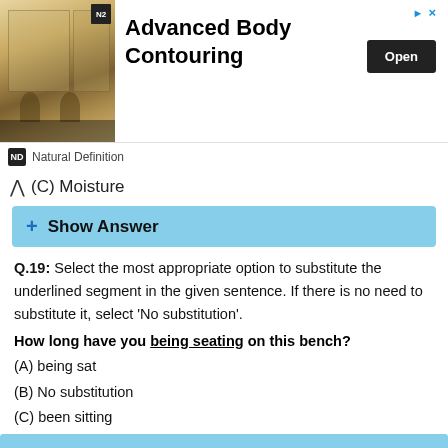[Figure (photo): Advertisement banner for Advanced Body Contouring by Natural Definition, showing a storefront image on the left, bold text in center, and an Open button on the right.]
(C) Moisture
+ Show Answer
Q.19: Select the most appropriate option to substitute the underlined segment in the given sentence. If there is no need to substitute it, select 'No substitution'.
How long have you being seating on this bench?
(A) being sat
(B) No substitution
(C) been sitting
(D) ben seating